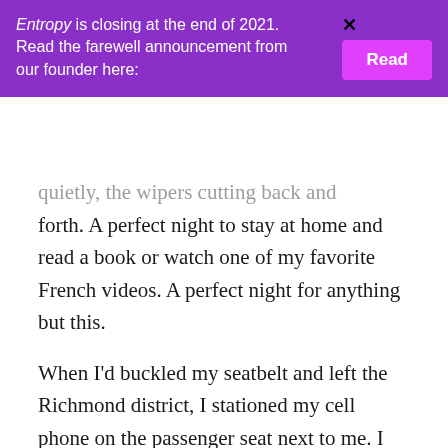Entropy is closing at the end of 2021. Read the farewell announcement from our founder here: [Read]
…quietly, the wipers cutting back and forth. A perfect night to stay at home and read a book or watch one of my favorite French videos. A perfect night for anything but this.
When I'd buckled my seatbelt and left the Richmond district, I stationed my cell phone on the passenger seat next to me. I texted my girlfriends before and after meeting someone. It helped to ground me, helped to give me the confidence I sorely lacked and make me feel I wasn't